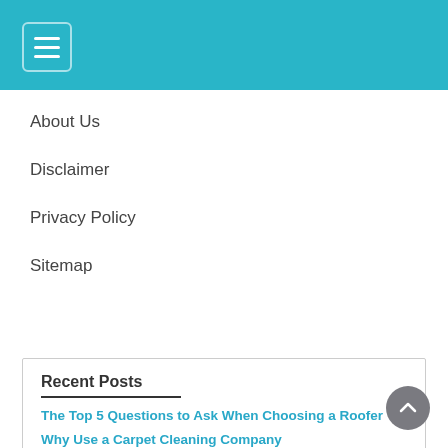Navigation header with hamburger menu
About Us
Disclaimer
Privacy Policy
Sitemap
Recent Posts
The Top 5 Questions to Ask When Choosing a Roofer
Why Use a Carpet Cleaning Company
How to Install Curtain Rods in 15 Minutes?
Can Damage Be Done to a Roof in the Desert?